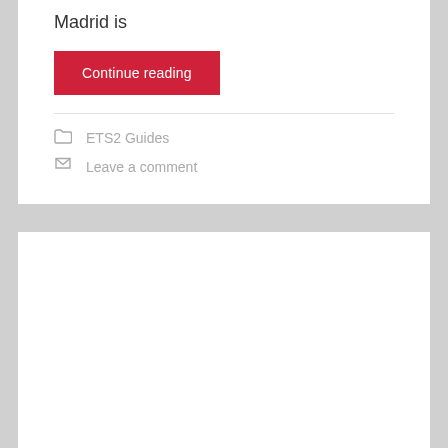Madrid is
Continue reading
ETS2 Guides
Leave a comment